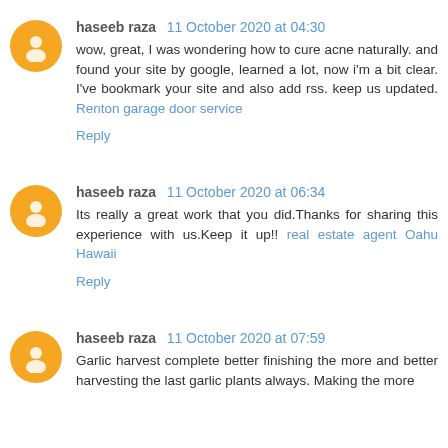haseeb raza 11 October 2020 at 04:30
wow, great, I was wondering how to cure acne naturally. and found your site by google, learned a lot, now i'm a bit clear. I've bookmark your site and also add rss. keep us updated. Renton garage door service
Reply
haseeb raza 11 October 2020 at 06:34
Its really a great work that you did.Thanks for sharing this experience with us.Keep it up!! real estate agent Oahu Hawaii
Reply
haseeb raza 11 October 2020 at 07:59
Garlic harvest complete better finishing the more and better harvesting the last garlic plants always. Making the more